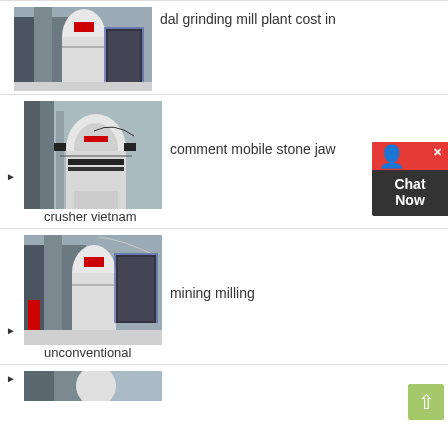[Figure (photo): Industrial grinding mill plant machinery in factory]
dal grinding mill plant cost in
[Figure (photo): Large industrial grinding mill equipment]
comment mobile stone jaw crusher vietnam
[Figure (photo): Mining milling machinery in industrial plant]
mining milling unconventional
[Figure (photo): Partial view of industrial machinery at bottom]